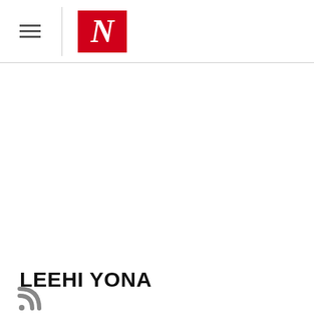N (The Nation logo)
LEEHI YONA
[Figure (other): RSS feed icon]